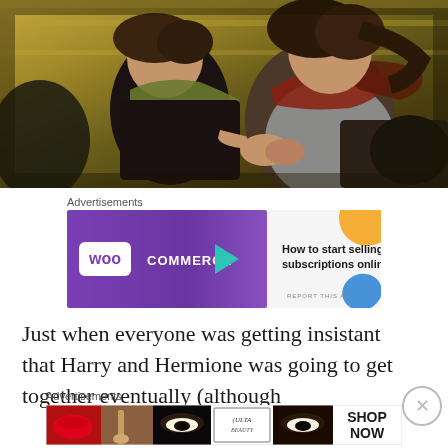[Figure (photo): Two young people (resembling Ron and Hermione from Harry Potter) sitting inside a tent. A boy with messy brown hair wearing a dark shirt and green scarf is lying/sitting, while a girl with long dark hair wearing a grey top and red-brown scarf leans over him, apparently tending to his hand.]
Advertisements
[Figure (other): WooCommerce advertisement banner: purple background with WooCommerce logo, teal arrow, text reading 'How to start selling subscriptions online', orange and blue decorative blobs.]
Just when everyone was getting insistant that Harry and Hermione was going to get together eventually (although
Advertisements
[Figure (other): ULTA Beauty advertisement showing makeup-related images (lips, makeup brush, eye with makeup, ULTA logo, eye with makeup) and a 'SHOP NOW' button.]